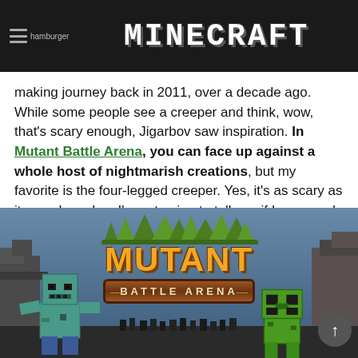hamburger | MINECRAFT
making journey back in 2011, over a decade ago. While some people see a creeper and think, wow, that's scary enough, Jigarbov saw inspiration. In Mutant Battle Arena, you can face up against a whole host of nightmarish creations, but my favorite is the four-legged creeper. Yes, it's as scary as it sounds and no I'm not going to tell you if I managed to defeat it or not. You're just going to have to try it yourself!
[Figure (screenshot): Mutant Battle Arena game screenshot showing the game logo with green spiky crown, orange 'MUTANT' text, brown banner reading 'BATTLE ARENA', with a zombie character on the left and a creeper on the right, against a rocky Minecraft-style background.]